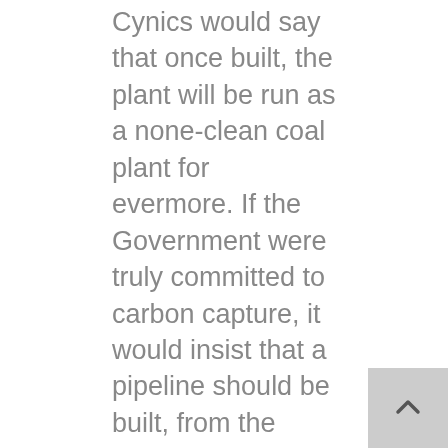Cynics would say that once built, the plant will be run as a none-clean coal plant for evermore. If the Government were truly committed to carbon capture, it would insist that a pipeline should be built, from the plant, to a location somewhere on the North Sea coast, at the same time as the power plant is being constructed. This is because, it is often extremely difficult to get permission from land owners and local authorities to lay new pipelines, especially when the environmental groups are of the opinion that the fluid being transported is toxic. It will be another excuse to do nothing.
The competition to coal fired steam plants comes from those of the "pre-combustion type". Here a fuel gas is produced by a gasification process, which is then treated or modified to